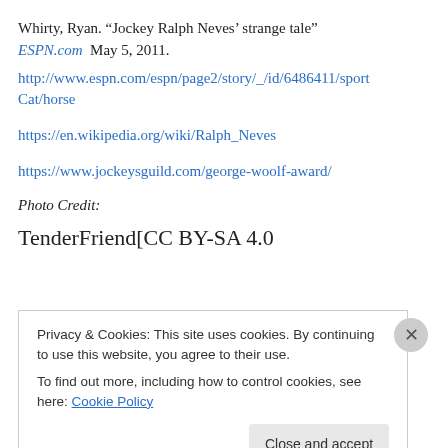Whirty, Ryan. “Jockey Ralph Neves’ strange tale” ESPN.com  May 5, 2011.
http://www.espn.com/espn/page2/story/_/id/6486411/sportCat/horse
https://en.wikipedia.org/wiki/Ralph_Neves
https://www.jockeysguild.com/george-woolf-award/
Photo Credit:
TenderFriend[CC BY-SA 4.0
Privacy & Cookies: This site uses cookies. By continuing to use this website, you agree to their use.
To find out more, including how to control cookies, see here: Cookie Policy